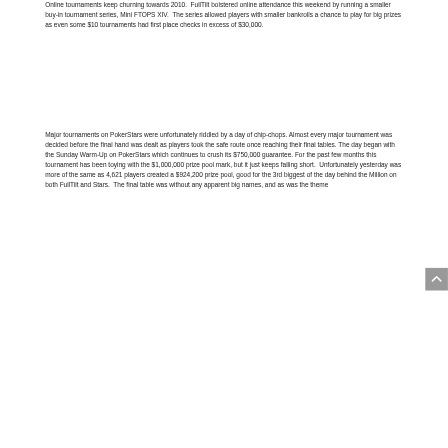Online tournaments keep churning towards 2010.  FullTilt bolstered online attendance this weekend by running a smaller buy-in tournament series, Mini FTOPS XIV.  The series allowed players with smaller bankrolls a chance to play for big prizes as even some $10 tournaments had first place checks in excess of $30,000.
Major tournaments on PokerStars were unfortunately riddled by a day of chip-chops. Almost every major tournament was decided before the final hand was dealt as players took the safe route once reaching their final tables. The day began with the Sunday Warm-Up on PokerStars which continues to crush its $750,000 guarantee. For the past few months this tournament has been toying with the $1,000,000 prize pool mark, but it just keeps falling short.  Unfortunately yesterday was more of the same as 4,621 players created a $924,200 prize pool, good for the 3rd biggest of the day behind the Million on both FullTilt and Stars.  The final table was without any apparent big names, and as was the theme